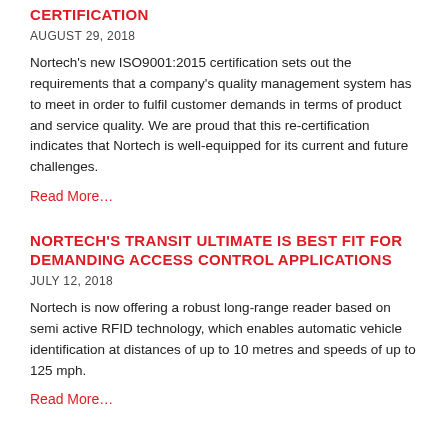CERTIFICATION
AUGUST 29, 2018
Nortech's new ISO9001:2015 certification sets out the requirements that a company's quality management system has to meet in order to fulfil customer demands in terms of product and service quality. We are proud that this re-certification indicates that Nortech is well-equipped for its current and future challenges.
Read More…
NORTECH'S TRANSIT ULTIMATE IS BEST FIT FOR DEMANDING ACCESS CONTROL APPLICATIONS
JULY 12, 2018
Nortech is now offering a robust long-range reader based on semi active RFID technology, which enables automatic vehicle identification at distances of up to 10 metres and speeds of up to 125 mph.
Read More…